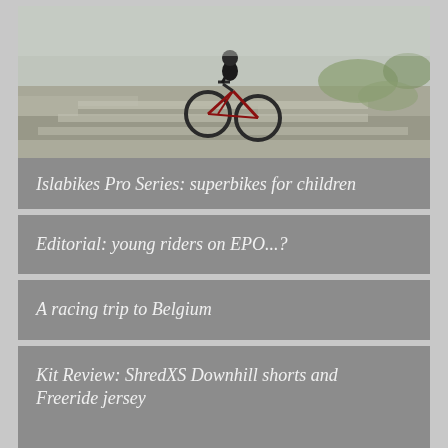[Figure (photo): Mountain biker riding down rocky stone steps on a hillside with grassy terrain]
Islabikes Pro Series: superbikes for children
Editorial: young riders on EPO...?
A racing trip to Belgium
Kit Review: ShredXS Downhill shorts and Freeride jersey